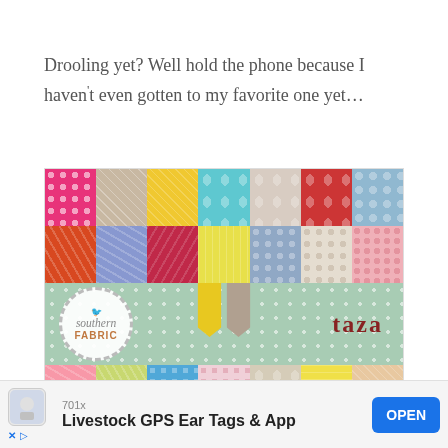Drooling yet? Well hold the phone because I haven't even gotten to my favorite one yet…
[Figure (photo): A fabric swatch collection grid showing colorful patterned fabric swatches arranged in rows, with a central mint green polka-dot banner featuring the 'southern Fabric' logo on the left and 'taza' brand name on the right, and decorative pennant flags in the center.]
[Figure (infographic): Mobile advertisement banner for 'Livestock GPS Ear Tags & App' showing '701x' sponsor label, an OPEN button in blue, and X/forward icons at bottom left.]